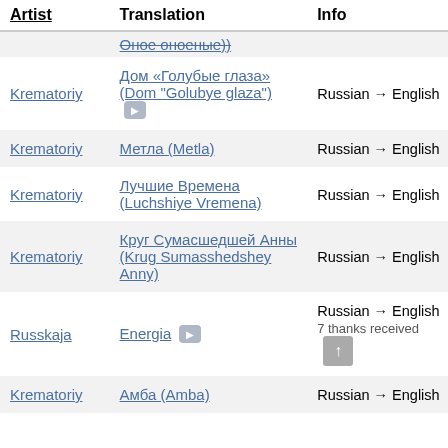| Artist | Translation | Info |
| --- | --- | --- |
|  | Оное оноеные)) |  |
| Krematoriy | Дом «Голубые глаза» (Dom "Golubye glaza") ▶ | Russian → English |
| Krematoriy | Метла (Metla) | Russian → English |
| Krematoriy | Лучшие Времена (Luchshiye Vremena) | Russian → English |
| Krematoriy | Круг Сумасшедшей Анны (Krug Sumasshedshey Anny) | Russian → English |
| Russkaja | Energia ▶ | Russian → English
7 thanks received |
| Krematoriy | Амба (Amba) | Russian → English |